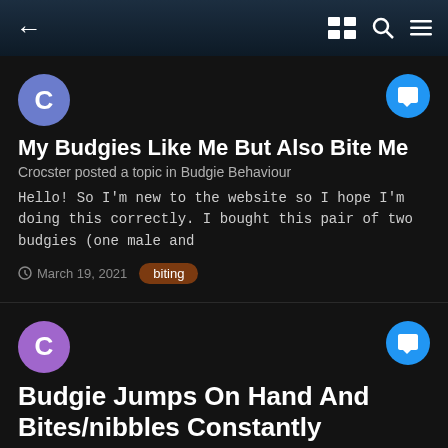← [back] [search] [menu]
My Budgies Like Me But Also Bite Me
Crocster posted a topic in Budgie Behaviour
Hello! So I'm new to the website so I hope I'm doing this correctly. I bought this pair of two budgies (one male and
March 19, 2021  biting
Budgie Jumps On Hand And Bites/nibbles Constantly
Chloe.moerangi posted a topic in Budgie Behaviour